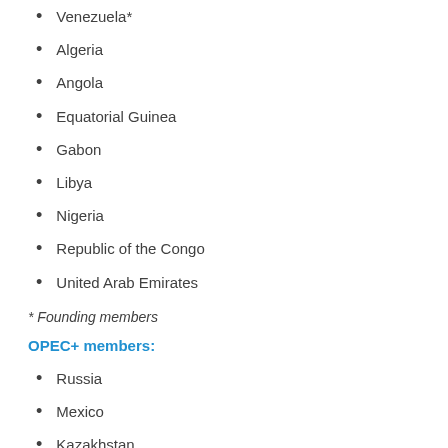Venezuela*
Algeria
Angola
Equatorial Guinea
Gabon
Libya
Nigeria
Republic of the Congo
United Arab Emirates
* Founding members
OPEC+ members:
Russia
Mexico
Kazakhstan
Malaysia
Azerbaijan